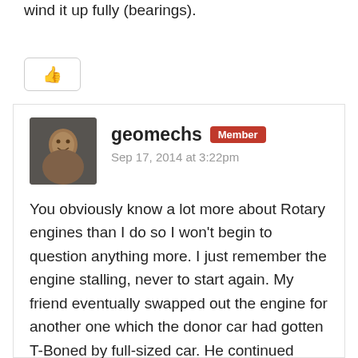wind it up fully (bearings).
[Figure (other): Like/thumbs-up button]
[Figure (photo): Avatar photo of user geomechs, a man smiling]
geomechs Member
Sep 17, 2014 at 3:22pm
You obviously know a lot more about Rotary engines than I do so I won't begin to question anything more. I just remember the engine stalling, never to start again. My friend eventually swapped out the engine for another one which the donor car had gotten T-Boned by full-sized car. He continued driving the car until he